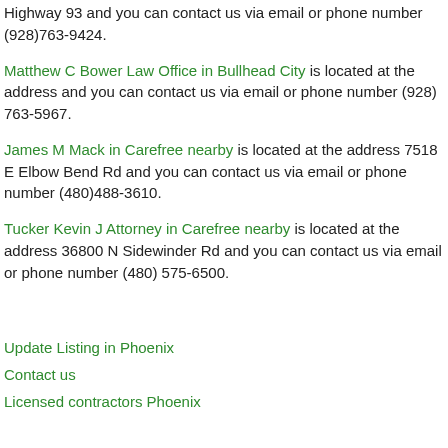Highway 93 and you can contact us via email or phone number (928)763-9424.
Matthew C Bower Law Office in Bullhead City is located at the address and you can contact us via email or phone number (928) 763-5967.
James M Mack in Carefree nearby is located at the address 7518 E Elbow Bend Rd and you can contact us via email or phone number (480)488-3610.
Tucker Kevin J Attorney in Carefree nearby is located at the address 36800 N Sidewinder Rd and you can contact us via email or phone number (480) 575-6500.
Update Listing in Phoenix
Contact us
Licensed contractors Phoenix